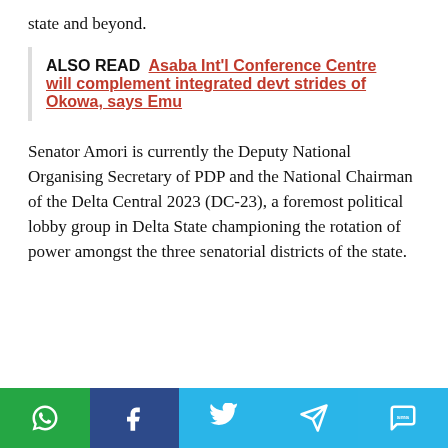state and beyond.
ALSO READ  Asaba Int'l Conference Centre will complement integrated devt strides of Okowa, says Emu
Senator Amori is currently the Deputy National Organising Secretary of PDP and the National Chairman of the Delta Central 2023 (DC-23), a foremost political lobby group in Delta State championing the rotation of power amongst the three senatorial districts of the state.
Social share bar: WhatsApp, Facebook, Twitter, Telegram, SMS